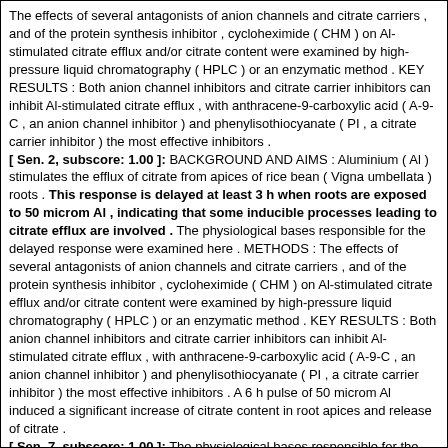The effects of several antagonists of anion channels and citrate carriers , and of the protein synthesis inhibitor , cycloheximide ( CHM ) on Al-stimulated citrate efflux and/or citrate content were examined by high-pressure liquid chromatography ( HPLC ) or an enzymatic method . KEY RESULTS : Both anion channel inhibitors and citrate carrier inhibitors can inhibit Al-stimulated citrate efflux , with anthracene-9-carboxylic acid ( A-9-C , an anion channel inhibitor ) and phenylisothiocyanate ( PI , a citrate carrier inhibitor ) the most effective inhibitors .
[ Sen. 2, subscore: 1.00 ]: BACKGROUND AND AIMS : Aluminium ( Al ) stimulates the efflux of citrate from apices of rice bean ( Vigna umbellata ) roots . This response is delayed at least 3 h when roots are exposed to 50 microm Al , indicating that some inducible processes leading to citrate efflux are involved . The physiological bases responsible for the delayed response were examined here . METHODS : The effects of several antagonists of anion channels and citrate carriers , and of the protein synthesis inhibitor , cycloheximide ( CHM ) on Al-stimulated citrate efflux and/or citrate content were examined by high-pressure liquid chromatography ( HPLC ) or an enzymatic method . KEY RESULTS : Both anion channel inhibitors and citrate carrier inhibitors can inhibit Al-stimulated citrate efflux , with anthracene-9-carboxylic acid ( A-9-C , an anion channel inhibitor ) and phenylisothiocyanate ( PI , a citrate carrier inhibitor ) the most effective inhibitors . A 6 h pulse of 50 microm Al induced a significant increase of citrate content in root apices and release of citrate .
[ Sen. 7, subscore: 1.00 ]: The physiological bases responsible for the delayed response were examined here . METHODS : The effects of several antagonists of anion channels and citrate carriers , and of the protein synthesis inhibitor , cycloheximide ( CHM ) on Al-stimulated citrate efflux and/or citrate content were examined by high-pressure liquid chromatography ( HPLC ) or an enzymatic method . KEY